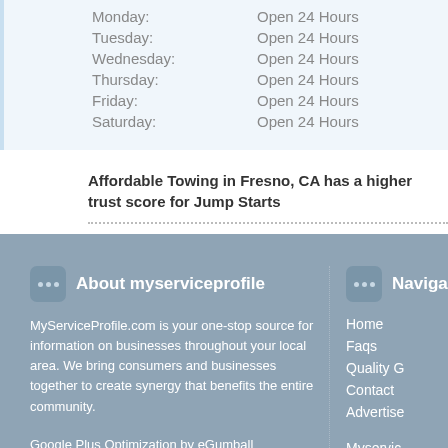Monday: Open 24 Hours
Tuesday: Open 24 Hours
Wednesday: Open 24 Hours
Thursday: Open 24 Hours
Friday: Open 24 Hours
Saturday: Open 24 Hours
Affordable Towing in Fresno, CA has a higher trust score for Jump Starts
About myserviceprofile
MyServiceProfile.com is your one-stop source for information on businesses throughout your local area. We bring consumers and businesses together to create synergy that benefits the entire community.
Google Plus Optimization by eGumball
Naviga
Home
Faqs
Quality G
Contact
Advertise
Myservic